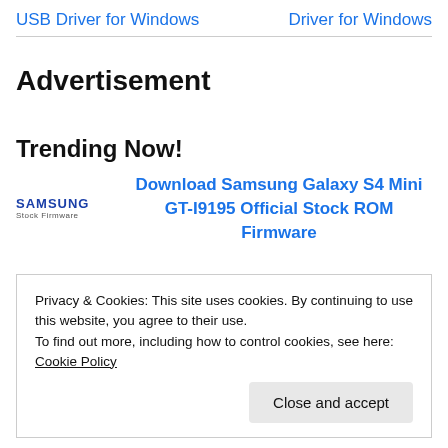USB Driver for Windows    Driver for Windows
Advertisement
Trending Now!
Download Samsung Galaxy S4 Mini GT-I9195 Official Stock ROM Firmware
Privacy & Cookies: This site uses cookies. By continuing to use this website, you agree to their use.
To find out more, including how to control cookies, see here: Cookie Policy